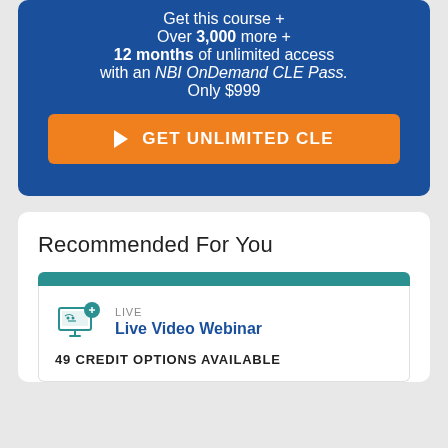Get this course +
Over 3,000 more +
12 months of unlimited access
with an NBI OnDemand CLE Pass.
Only $999
GET UNLIMITED CLE
Recommended For You
LIVE
Live Video Webinar
49 CREDIT OPTIONS AVAILABLE